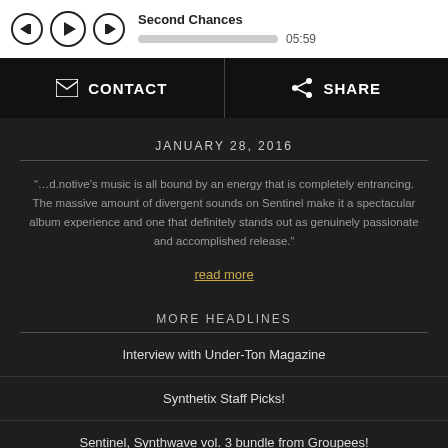Second Chances  05:59
CONTACT   SHARE
JANUARY 28, 2016
“…d.notive’s music is all bound by an energy that is completely entrancing. The massive amount of divergent sounds on Sentinel make it a spectacular album experience and one that definitely stands out as genuinely passionate and accomplished release.”
read more
MORE HEADLINES
Interview with Under-Ton Magazine
Synthetix Staff Picks!
Sentinel, Synthwave vol. 3 bundle from Groupees!